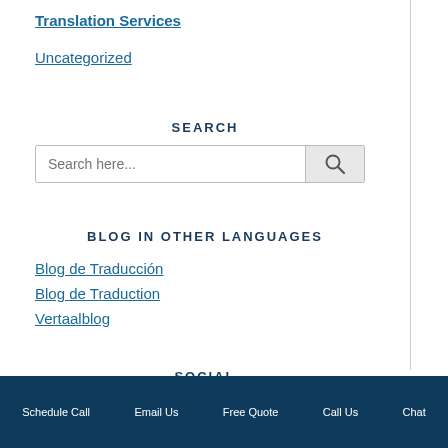Translation Services
Uncategorized
SEARCH
BLOG IN OTHER LANGUAGES
Blog de Traducción
Blog de Traduction
Vertaalblog
SOCIAL
Schedule Call   Email Us   Free Quote   Call Us   Chat